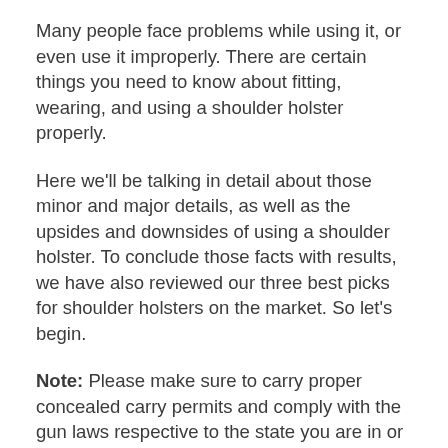Many people face problems while using it, or even use it improperly. There are certain things you need to know about fitting, wearing, and using a shoulder holster properly.
Here we'll be talking in detail about those minor and major details, as well as the upsides and downsides of using a shoulder holster. To conclude those facts with results, we have also reviewed our three best picks for shoulder holsters on the market. So let's begin.
Note: Please make sure to carry proper concealed carry permits and comply with the gun laws respective to the state you are in or traveling to.